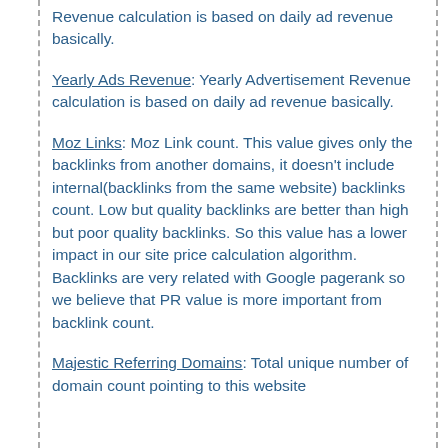Revenue calculation is based on daily ad revenue basically.
Yearly Ads Revenue: Yearly Advertisement Revenue calculation is based on daily ad revenue basically.
Moz Links: Moz Link count. This value gives only the backlinks from another domains, it doesn't include internal(backlinks from the same website) backlinks count. Low but quality backlinks are better than high but poor quality backlinks. So this value has a lower impact in our site price calculation algorithm. Backlinks are very related with Google pagerank so we believe that PR value is more important from backlink count.
Majestic Referring Domains: Total unique number of domain count pointing to this website